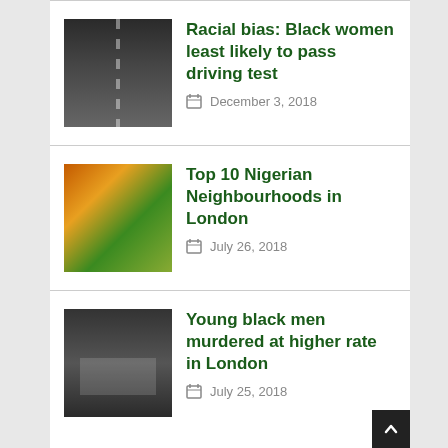[Figure (photo): Thumbnail image of a road/street scene, dark tones]
Racial bias: Black women least likely to pass driving test
December 3, 2018
[Figure (photo): Thumbnail image of a market with colorful produce and green awnings]
Top 10 Nigerian Neighbourhoods in London
July 26, 2018
[Figure (photo): Thumbnail image of protest scene with people holding signs]
Young black men murdered at higher rate in London
July 25, 2018
EVENTS
Posts not found. Pleae config this widget again!